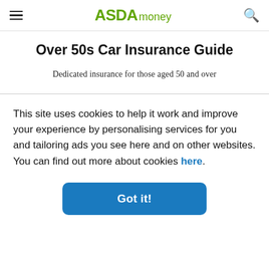ASDA money
Over 50s Car Insurance Guide
Dedicated insurance for those aged 50 and over
This site uses cookies to help it work and improve your experience by personalising services for you and tailoring ads you see here and on other websites. You can find out more about cookies here.
Got it!